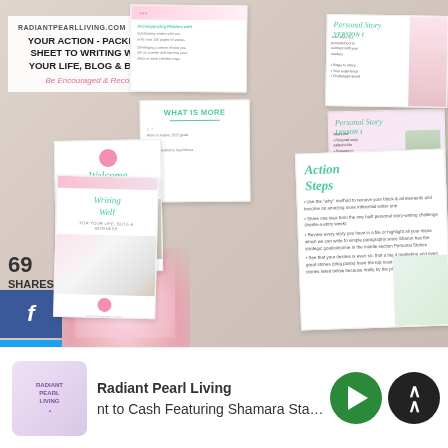[Figure (photo): Marketing collage showing a cheat sheet for writing well for life, blog and business, with multiple overlapping document pages on a white brick background with roses and a laptop. Includes social share buttons (69 shares, Facebook, Twitter, Pinterest).]
RADIANTPEARLLIVING.COM
YOUR ACTION - PACKED CHEAT SHEET TO WRITING WELL FOR YOUR LIFE, BLOG & BUSINESS.
Be Encouraged & Record Daily!
69
SHARES
[Figure (logo): Radiant Pearl Living podcast logo - circular badge with text]
Radiant Pearl Living
nt to Cash Featuring Shamara Star C